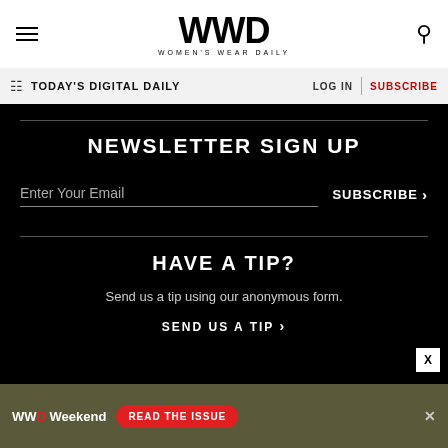WWD WOMEN'S WEAR DAILY
TODAY'S DIGITAL DAILY
LOG IN
SUBSCRIBE
NEWSLETTER SIGN UP
Enter Your Email
SUBSCRIBE
HAVE A TIP?
Send us a tip using our anonymous form.
SEND US A TIP
[Figure (screenshot): WWD Weekend advertisement banner with red 'READ THE ISSUE' button]